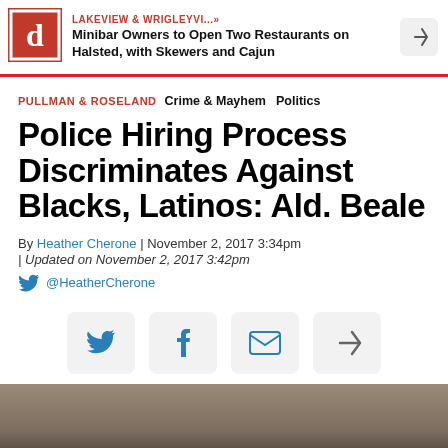LAKEVIEW & WRIGLEYVI...» Minibar Owners to Open Two Restaurants on Halsted, with Skewers and Cajun
PULLMAN & ROSELAND  Crime & Mayhem  Politics
Police Hiring Process Discriminates Against Blacks, Latinos: Ald. Beale
By Heather Cherone | November 2, 2017 3:34pm | Updated on November 2, 2017 3:42pm
@HeatherCherone
[Figure (screenshot): Social share bar with Twitter, Facebook, Email, and share icon buttons]
[Figure (photo): Partial photo at bottom of page, appears to show people in an indoor setting]